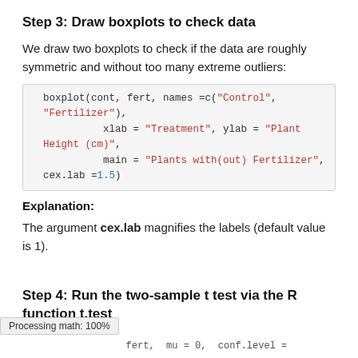Step 3: Draw boxplots to check data
We draw two boxplots to check if the data are roughly symmetric and without too many extreme outliers:
[Figure (screenshot): R code block: boxplot(cont, fert, names =c("Control", "Fertilizer"), xlab = "Treatment", ylab = "Plant Height (cm)", main = "Plants with(out) Fertilizer", cex.lab =1.5)]
Explanation:
The argument cex.lab magnifies the labels (default value is 1).
Step 4: Run the two-sample t test via the R function t.test
Processing math: 100%
t.test(cont, fert, mu = 0, conf.level =